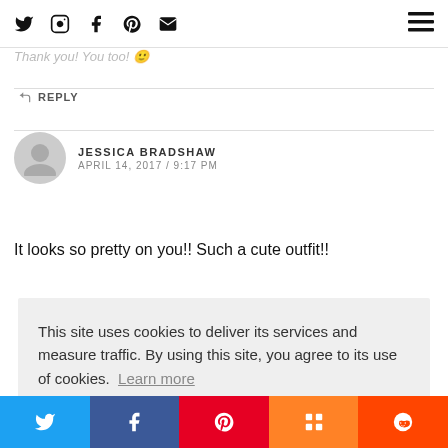Social nav icons: Twitter, Instagram, Facebook, Pinterest, Email; hamburger menu
Thank you! You too! 🙂
↩ REPLY
JESSICA BRADSHAW
APRIL 14, 2017 / 9:17 PM
It looks so pretty on you!! Such a cute outfit!!
This site uses cookies to deliver its services and measure traffic. By using this site, you agree to its use of cookies.  Learn more
Got it!
Share buttons: Twitter, Facebook, Pinterest, Mix, Reddit